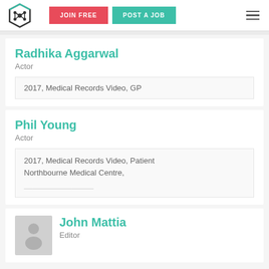[Figure (logo): Hexagonal logo icon with molecular/chain design]
JOIN FREE
POST A JOB
Radhika Aggarwal
Actor
2017, Medical Records Video, GP
Phil Young
Actor
2017, Medical Records Video, Patient
Northbourne Medical Centre,
John Mattia
Editor